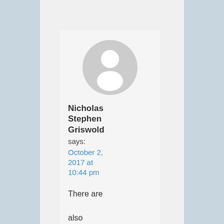[Figure (illustration): Generic user avatar — grey circle with white silhouette of a person (head and shoulders)]
Nicholas Stephen Griswold says: October 2, 2017 at 10:44 pm

There are also